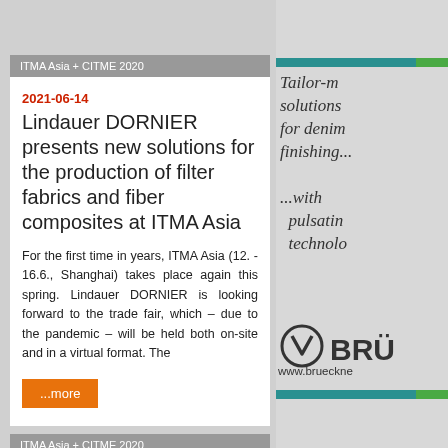ITMA Asia + CITME 2020
2021-06-14
Lindauer DORNIER presents new solutions for the production of filter fabrics and fiber composites at ITMA Asia
For the first time in years, ITMA Asia (12. - 16.6., Shanghai) takes place again this spring. Lindauer DORNIER is looking forward to the trade fair, which – due to the pandemic – will be held both on-site and in a virtual format. The
...more
[Figure (illustration): Advertisement for Brueckner: italic script text reading 'Tailor-made solutions for denim finishing... ...with pulsating technology...' with Brueckner logo (circle with V mark) and company name 'BRÜ' and partial URL 'www.brueckne']
ITMA Asia + CITME 2020
2021-06-10